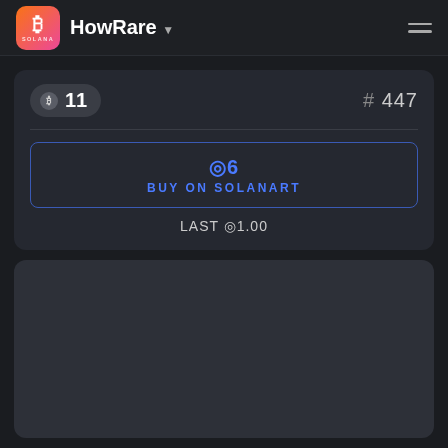HowRare
R 11
# 447
◎6 BUY ON SOLANART
LAST ◎1.00
[Figure (other): Empty dark panel at bottom of the page]